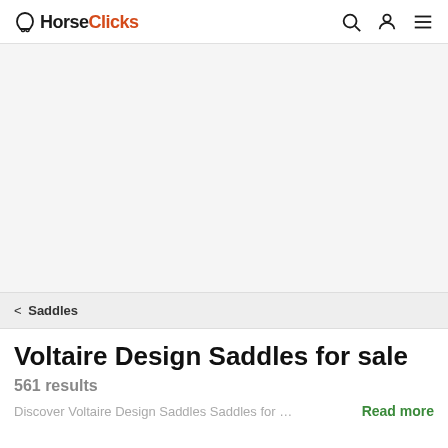HorseClicks
[Figure (other): Advertisement/banner area (blank/white space)]
< Saddles
Voltaire Design Saddles for sale
561 results
Discover Voltaire Design Saddles Saddles for sal...
Read more